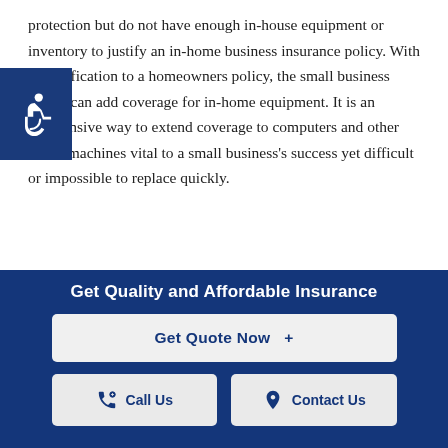protection but do not have enough in-house equipment or inventory to justify an in-home business insurance policy. With a modification to a homeowners policy, the small business owner can add coverage for in-home equipment. It is an inexpensive way to extend coverage to computers and other office machines vital to a small business's success yet difficult or impossible to replace quickly.
IN-HOME BUSINESS POLICY
An in-home business insurance policy is written with
Get Quality and Affordable Insurance
Get Quote Now  +
Call Us
Contact Us